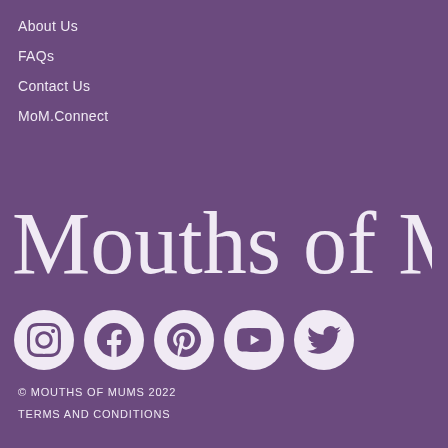About Us
FAQs
Contact Us
MoM.Connect
[Figure (logo): Mouths of Mums cursive script logo in white on purple background]
[Figure (infographic): Row of 5 social media icons (Instagram, Facebook, Pinterest, YouTube, Twitter) as white circles with purple icons]
© MOUTHS OF MUMS 2022
TERMS AND CONDITIONS